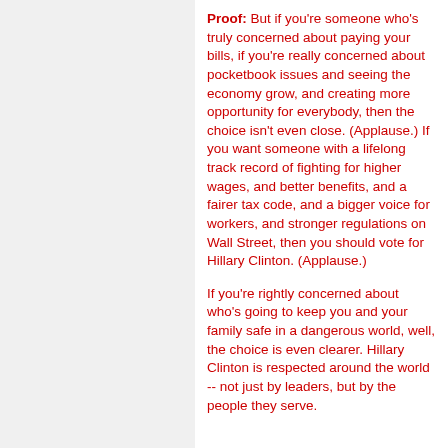Proof: But if you're someone who's truly concerned about paying your bills, if you're really concerned about pocketbook issues and seeing the economy grow, and creating more opportunity for everybody, then the choice isn't even close. (Applause.) If you want someone with a lifelong track record of fighting for higher wages, and better benefits, and a fairer tax code, and a bigger voice for workers, and stronger regulations on Wall Street, then you should vote for Hillary Clinton. (Applause.)
If you're rightly concerned about who's going to keep you and your family safe in a dangerous world, well, the choice is even clearer. Hillary Clinton is respected around the world -- not just by leaders, but by the people they serve.